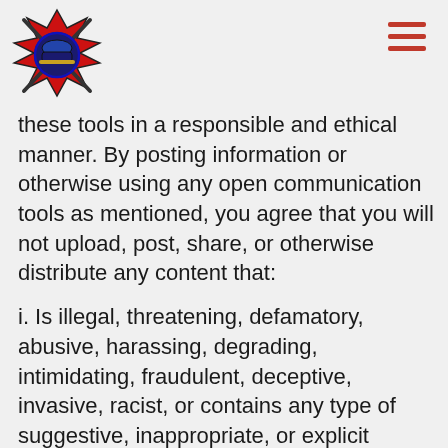Fire department logo and navigation menu
these tools in a responsible and ethical manner. By posting information or otherwise using any open communication tools as mentioned, you agree that you will not upload, post, share, or otherwise distribute any content that:
i. Is illegal, threatening, defamatory, abusive, harassing, degrading, intimidating, fraudulent, deceptive, invasive, racist, or contains any type of suggestive, inappropriate, or explicit language;
ii. Infringes on any trademark, patent, trade secret, copyright, or other proprietary right of any party;